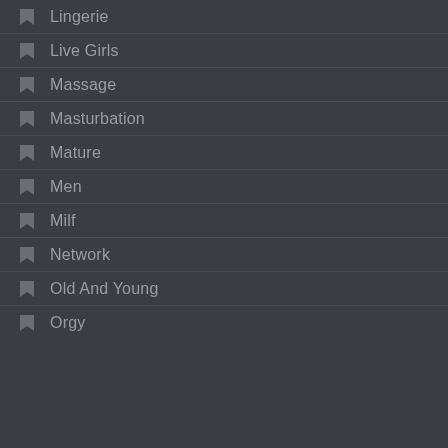Lingerie
Live Girls
Massage
Masturbation
Mature
Men
Milf
Network
Old And Young
Orgy